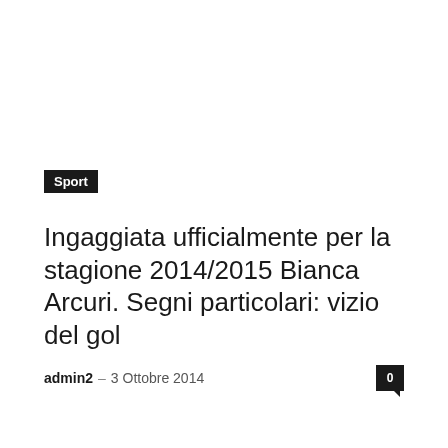Sport
Ingaggiata ufficialmente per la stagione 2014/2015 Bianca Arcuri. Segni particolari: vizio del gol
admin2 – 3 Ottobre 2014  0